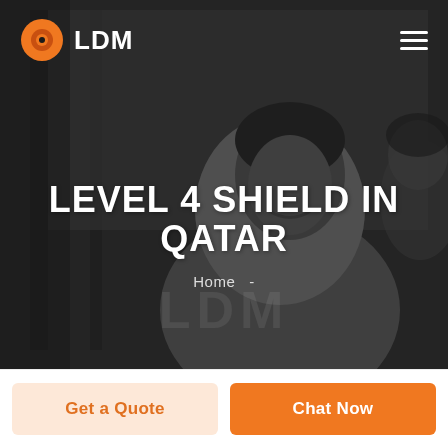[Figure (photo): Hero section background showing a smiling man in a white shirt with a woman partially visible, grayscale/dark overlay. LDM logo and hamburger menu in top navbar.]
LEVEL 4 SHIELD IN QATAR
Home  -
Get a Quote
Chat Now